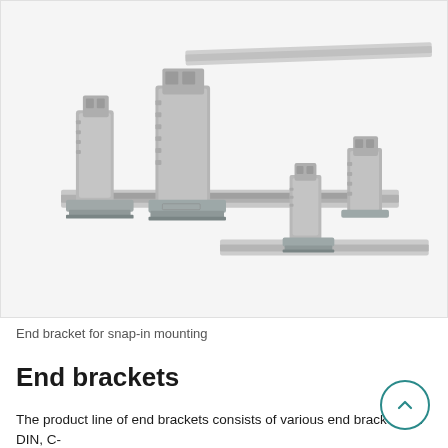[Figure (photo): Photo of end brackets for snap-in mounting. Shows grey plastic and metal DIN rail end brackets/clips in two sizes mounted on aluminum DIN rails, displayed on a white background.]
End bracket for snap-in mounting
End brackets
The product line of end brackets consists of various end brackets for DIN, C-